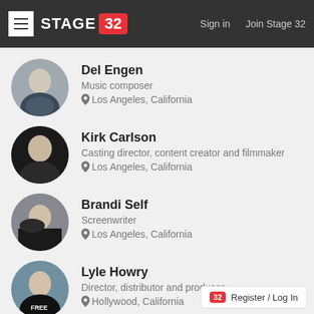STAGE 32 | Sign in | Join Stage 32
Del Engen
Music composer
Los Angeles, California
Kirk Carlson
Casting director, content creator and filmmaker
Los Angeles, California
Brandi Self
Screenwriter
Los Angeles, California
Lyle Howry
Director, distributor and producer
Hollywood, California
Register / Log In